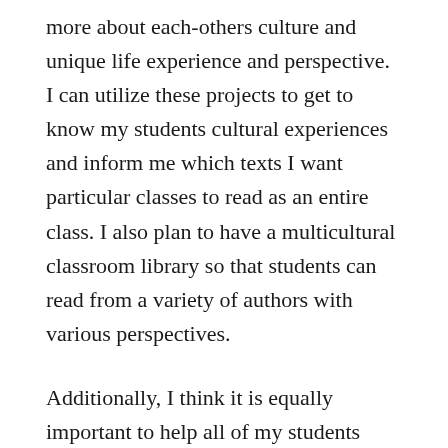more about each-others culture and unique life experience and perspective. I can utilize these projects to get to know my students cultural experiences and inform me which texts I want particular classes to read as an entire class. I also plan to have a multicultural classroom library so that students can read from a variety of authors with various perspectives.
Additionally, I think it is equally important to help all of my students practice social-emotional learning practices, particularly self-awareness, social-awareness and interpersonal skills. I’m not certain about the source of hatred nor what can drive people to commit violence against others but I think trying to instill a sense of empathy or work towards